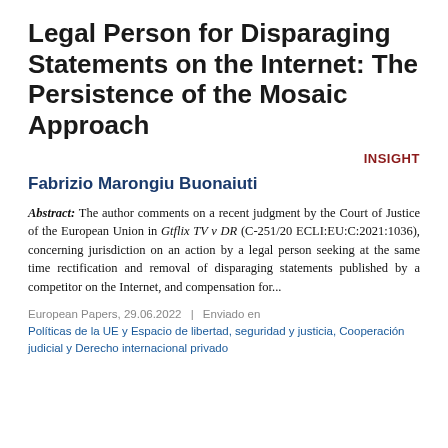Legal Person for Disparaging Statements on the Internet: The Persistence of the Mosaic Approach
INSIGHT
Fabrizio Marongiu Buonaiuti
Abstract: The author comments on a recent judgment by the Court of Justice of the European Union in Gtflix TV v DR (C-251/20 ECLI:EU:C:2021:1036), concerning jurisdiction on an action by a legal person seeking at the same time rectification and removal of disparaging statements published by a competitor on the Internet, and compensation for...
European Papers, 29.06.2022  |  Enviado en
Políticas de la UE y Espacio de libertad, seguridad y justicia, Cooperación judicial y Derecho internacional privado